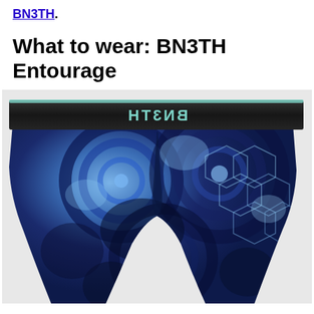BN3TH.
What to wear: BN3TH Entourage
[Figure (photo): BN3TH Entourage boxer briefs with tie-dye blue and black pattern, black elastic waistband with BN3TH logo in teal text, photographed on white/light grey background]